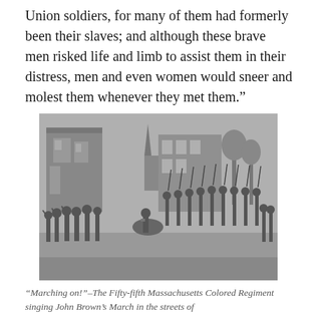Union soldiers, for many of them had formerly been their slaves; and although these brave men risked life and limb to assist them in their distress, men and even women would sneer and molest them whenever they met them."
[Figure (illustration): Black and white engraving of the Fifty-fifth Massachusetts Colored Regiment marching through the streets, with crowds of people on both sides and ruined buildings in the background.]
"Marching on!"–The Fifty-fifth Massachusetts Colored Regiment singing John Brown's March in the streets of